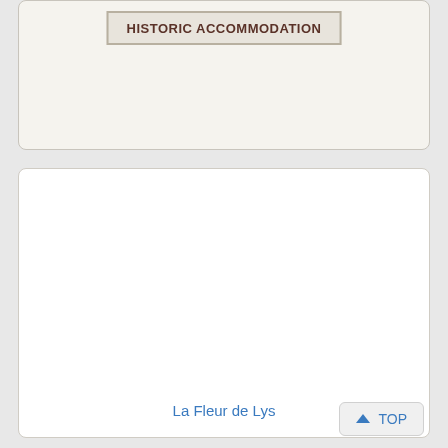HISTORIC ACCOMMODATION
[Figure (other): White empty card panel below the historic accommodation header]
La Fleur de Lys
TOP